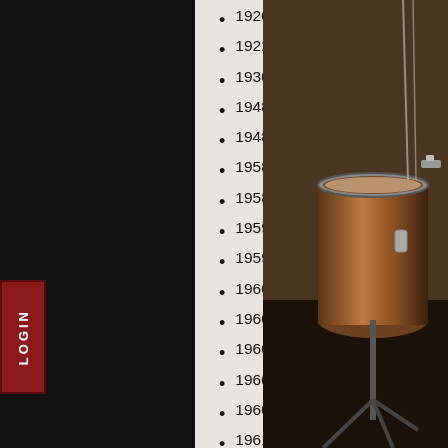1920s Ajax Traps
1922c Jedson Traps
1930s CarltonButterfly Console
1948c Ajax De-Luxe
1948c Slingerland Radio King
1958 Slingerland Krupa Junior
1958c Ajax Crosshatch Pearl
1959 Slingerland Radio King
1959? Ajax Blue Sparkle
1960 Slingerland Gene Krupa
1960s Ajax Mardi Gras
1960s Ajax Stratford Besson
1960s Del Rey Blue Sparkle (3)
1960s Del Rey Blue Sparkle (4)
1961 Trixon Luxus
1961 Trixon Speedfire
1961 Trixon Twin Set
1966c Pearl Arbiter
1967c Ajax Nu Sound Forte
1970s Beverley Gold Sparkle 1
[Figure (photo): Vintage drum kit photograph showing a snare drum on a stand in a studio setting with brown/copper finish]